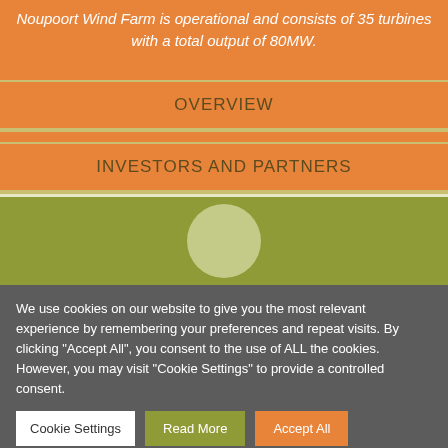Noupoort Wind Farm is operational and consists of 35 turbines with a total output of 80MW.
OVERVIEW
INVESTORS AND PARTNERS
[Figure (illustration): Olive green horizontal band with a light green circle centered in it]
We use cookies on our website to give you the most relevant experience by remembering your preferences and repeat visits. By clicking "Accept All", you consent to the use of ALL the cookies. However, you may visit "Cookie Settings" to provide a controlled consent.